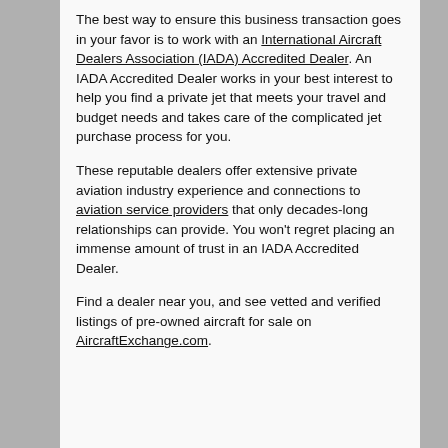The best way to ensure this business transaction goes in your favor is to work with an International Aircraft Dealers Association (IADA) Accredited Dealer. An IADA Accredited Dealer works in your best interest to help you find a private jet that meets your travel and budget needs and takes care of the complicated jet purchase process for you.
These reputable dealers offer extensive private aviation industry experience and connections to aviation service providers that only decades-long relationships can provide. You won't regret placing an immense amount of trust in an IADA Accredited Dealer.
Find a dealer near you, and see vetted and verified listings of pre-owned aircraft for sale on AircraftExchange.com.